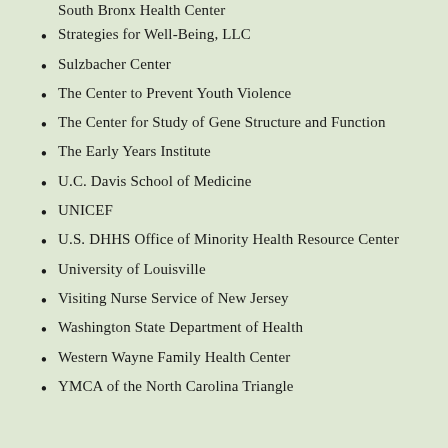South Bronx Health Center
Strategies for Well-Being, LLC
Sulzbacher Center
The Center to Prevent Youth Violence
The Center for Study of Gene Structure and Function
The Early Years Institute
U.C. Davis School of Medicine
UNICEF
U.S. DHHS Office of Minority Health Resource Center
University of Louisville
Visiting Nurse Service of New Jersey
Washington State Department of Health
Western Wayne Family Health Center
YMCA of the North Carolina Triangle